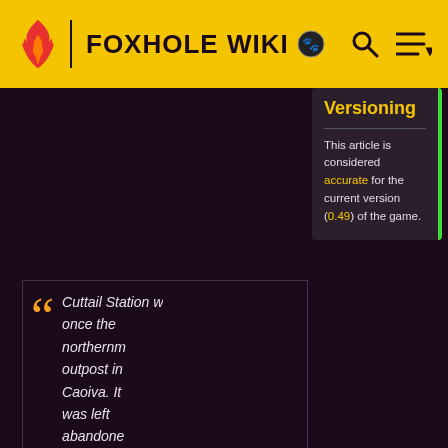FOXHOLE WIKI
Versioning
This article is considered accurate for the current version (0.49) of the game.
Cuttail Station was once the northernmost outpost in Caoiva. It was left abandoned after villagers fleeing from the Reach Trail met with the regions inhabitants to form a